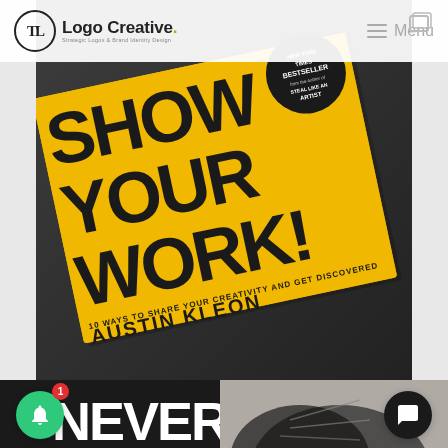Logo Creative. Strategic Logos & Brand Identity Design | Menu
[Figure (photo): Photo of 'Show Your Work!' book by Austin Kleon (New York Times Bestseller, 10 Ways to Share Your Creativity and Get Discovered) — yellow cover with black hand-lettered title, lying on a dark surface.]
[Figure (photo): Preview of next article with text 'NEVER' in large white letters on black background, cat image partially visible on right.]